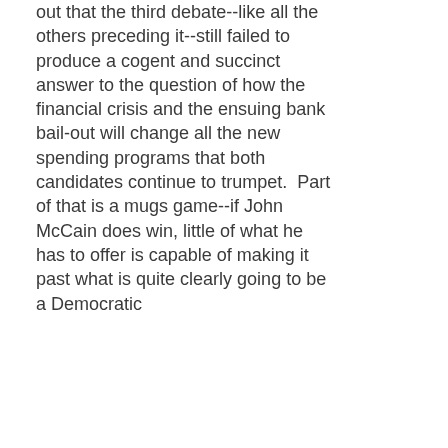out that the third debate--like all the others preceding it--still failed to produce a cogent and succinct answer to the question of how the financial crisis and the ensuing bank bail-out will change all the new spending programs that both candidates continue to trumpet.  Part of that is a mugs game--if John McCain does win, little of what he has to offer is capable of making it past what is quite clearly going to be a Democratic